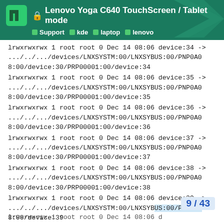Lenovo Yoga C640 TouchScreen / Tablet mode — Support kde laptop lenovo
lrwxrwxrwx 1 root root 0 Dec 14 08:06 device:34 -> .../../.../devices/LNXSYSTM:00/LNXSYBUS:00/PNP0A08:00/device:30/PRP00001:00/device:34
lrwxrwxrwx 1 root root 0 Dec 14 08:06 device:35 -> .../../.../devices/LNXSYSTM:00/LNXSYBUS:00/PNP0A08:00/device:30/PRP00001:00/device:35
lrwxrwxrwx 1 root root 0 Dec 14 08:06 device:36 -> .../../.../devices/LNXSYSTM:00/LNXSYBUS:00/PNP0A08:00/device:30/PRP00001:00/device:36
lrwxrwxrwx 1 root root 0 Dec 14 08:06 device:37 -> .../../.../devices/LNXSYSTM:00/LNXSYBUS:00/PNP0A08:00/device:30/PRP00001:00/device:37
lrwxrwxrwx 1 root root 0 Dec 14 08:06 device:38 -> .../../.../devices/LNXSYSTM:00/LNXSYBUS:00/PNP0A08:00/device:30/PRP00001:00/device:38
lrwxrwxrwx 1 root root 0 Dec 14 08:06 device:39 -> .../../.../devices/LNXSYSTM:00/LNXSYBUS:00/PNP0A08:00/device:30/PRP00001:00/device:39
lrwxrwxrwx 1 root root 0 Dec 14 08:06 d…
9 / 43